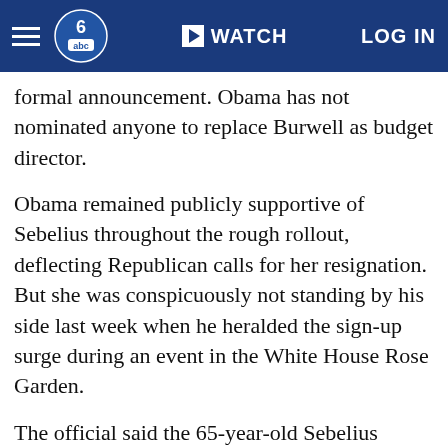WATCH  LOG IN
formal announcement. Obama has not nominated anyone to replace Burwell as budget director.
Obama remained publicly supportive of Sebelius throughout the rough rollout, deflecting Republican calls for her resignation. But she was conspicuously not standing by his side last week when he heralded the sign-up surge during an event in the White House Rose Garden.
The official said the 65-year-old Sebelius approached Obama last month about stepping down, telling him that the sign-up deadline was a good opportunity for a transition and suggesting he would be better served by someone who was less of a political target.
A spokeswoman for Sen. Pat Roberts, a Republican from